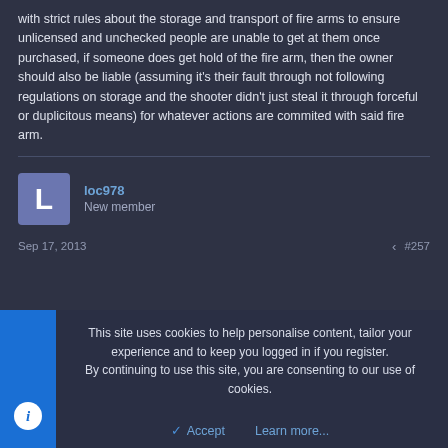with strict rules about the storage and transport of fire arms to ensure unlicensed and unchecked people are unable to get at them once purchased, if someone does get hold of the fire arm, then the owner should also be liable (assuming it's their fault through not following regulations on storage and the shooter didn't just steal it through forceful or duplicitous means) for whatever actions are commited with said fire arm.
loc978 | New member
Sep 17, 2013  #257
MichiganMuscle77 said:
This site uses cookies to help personalise content, tailor your experience and to keep you logged in if you register.
By continuing to use this site, you are consenting to our use of cookies.